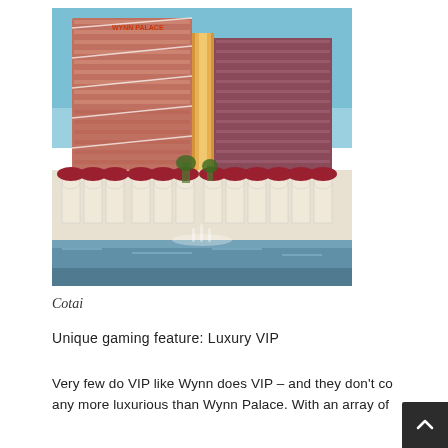[Figure (photo): Exterior photograph of Wynn Palace hotel and casino in Cotai, Macau. A large curved high-rise building with reflective reddish-brown glass panels and a golden vertical accent strip. The lower portion shows ornate white colonial-style colonnaded buildings with red awnings and a reflective pool or fountain in the foreground. The sky is clear blue. The hotel signage 'Wynn Palace' is visible near the top of the building.]
Cotai
Unique gaming feature: Luxury VIP
Very few do VIP like Wynn does VIP – and they don't co any more luxurious than Wynn Palace. With an array of